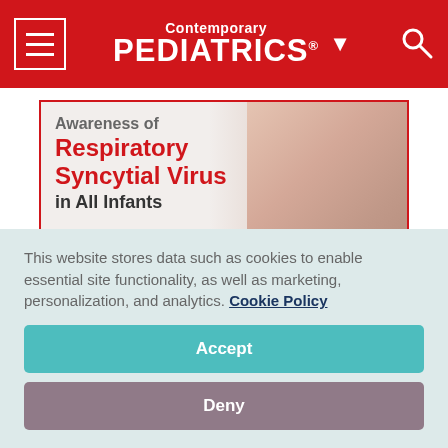Contemporary PEDIATRICS
[Figure (illustration): Advertisement banner for Respiratory Syncytial Virus awareness podcast with baby photo, text 'Awareness of Respiratory Syncytial Virus in All Infants' and a 'Listen Now' button]
This website stores data such as cookies to enable essential site functionality, as well as marketing, personalization, and analytics. Cookie Policy
Accept
Deny